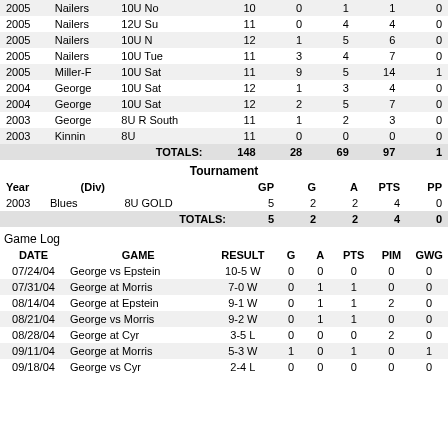| Year |  | (Div) | GP | G | A | PTS | PP |
| --- | --- | --- | --- | --- | --- | --- | --- |
| 2005 | Nailers | 10U No | 10 | 0 | 1 | 1 | 0 |
| 2005 | Nailers | 12U Su | 11 | 0 | 4 | 4 | 0 |
| 2005 | Nailers | 10U N | 12 | 1 | 5 | 6 | 0 |
| 2005 | Nailers | 10U Tue | 11 | 3 | 4 | 7 | 0 |
| 2005 | Miller-F | 10U Sat | 11 | 9 | 5 | 14 | 1 |
| 2004 | George | 10U Sat | 12 | 1 | 3 | 4 | 0 |
| 2004 | George | 10U Sat | 12 | 2 | 5 | 7 | 0 |
| 2003 | George | 8U R South | 11 | 1 | 2 | 3 | 0 |
| 2003 | Kinnin | 8U | 11 | 0 | 0 | 0 | 0 |
| TOTALS: |  |  | 148 | 28 | 69 | 97 | 1 |
Tournament
| Year | (Div) | GP | G | A | PTS | PP |
| --- | --- | --- | --- | --- | --- | --- |
| 2003 | Blues  8U GOLD | 5 | 2 | 2 | 4 | 0 |
| TOTALS: |  | 5 | 2 | 2 | 4 | 0 |
Game Log
| DATE | GAME | RESULT | G | A | PTS | PIM | GWG |
| --- | --- | --- | --- | --- | --- | --- | --- |
| 07/24/04 | George vs Epstein | 10-5 W | 0 | 0 | 0 | 0 | 0 |
| 07/31/04 | George at Morris | 7-0 W | 0 | 1 | 1 | 0 | 0 |
| 08/14/04 | George at Epstein | 9-1 W | 0 | 1 | 1 | 2 | 0 |
| 08/21/04 | George vs Morris | 9-2 W | 0 | 1 | 1 | 0 | 0 |
| 08/28/04 | George at Cyr | 3-5 L | 0 | 0 | 0 | 2 | 0 |
| 09/11/04 | George at Morris | 5-3 W | 1 | 0 | 1 | 0 | 1 |
| 09/18/04 | George vs Cyr | 2-4 L | 0 | 0 | 0 | 0 | 0 |